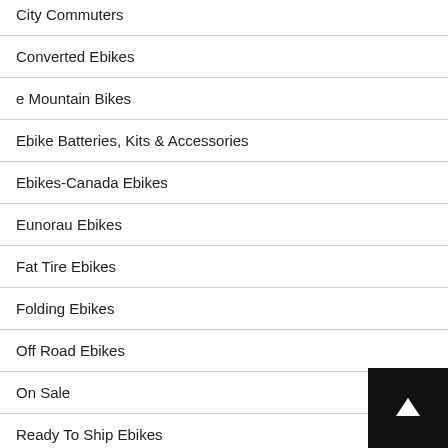City Commuters
Converted Ebikes
e Mountain Bikes
Ebike Batteries, Kits & Accessories
Ebikes-Canada Ebikes
Eunorau Ebikes
Fat Tire Ebikes
Folding Ebikes
Off Road Ebikes
On Sale
Ready To Ship Ebikes